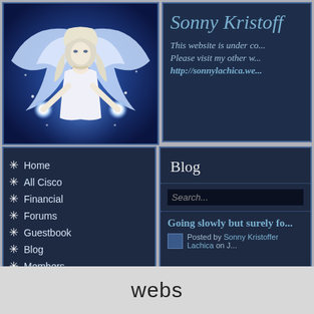[Figure (illustration): Fantasy angel woman with white wings in blue glowing light, wearing white dress, holding glowing orbs]
Sonny Kristoff
This website is under co... Please visit my other w... http://sonnylachica.we...
Home
All Cisco
Financial
Forums
Guestbook
Blog
Members
CCIE Notes Archived
Blog
Search...
Going slowly but surely fo...
Posted by Sonny Kristoffer Lachica on J...
webs